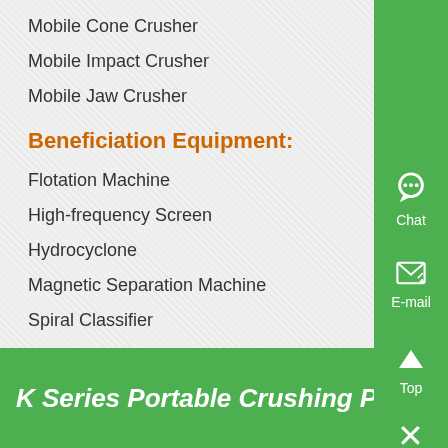Mobile Cone Crusher
Mobile Impact Crusher
Mobile Jaw Crusher
Beneficiation Equipment:
Flotation Machine
High-frequency Screen
Hydrocyclone
Magnetic Separation Machine
Spiral Classifier
Top Equipments
K Series Portable Crushing Plant